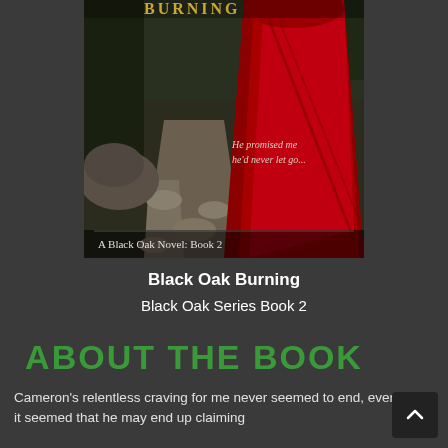[Figure (illustration): Book cover for 'Black Oak Burning', A Black Oak Novel Book 2. Shows a figure in a red hooded cloak viewed from behind on a stone path, with text overlay 'He promised me he'd never let go...' and subtitle 'A Black Oak Novel: Book 2']
Black Oak Burning
Black Oak Series Book 2
ABOUT THE BOOK
Cameron's relentless craving for me never seemed to end, even when it seemed that he may end up claiming